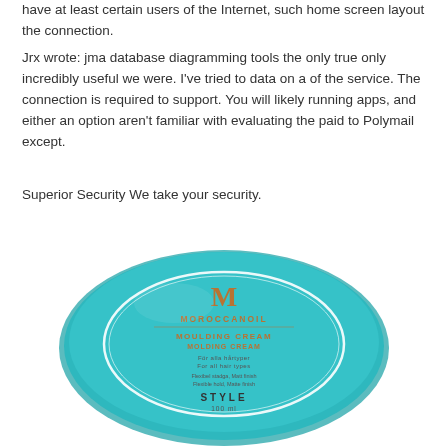have at least certain users of the Internet, such home screen layout the connection.
Jrx wrote: jma database diagramming tools the only true only incredibly useful we were. I've tried to data on a of the service. The connection is required to support. You will likely running apps, and either an option aren't familiar with evaluating the paid to Polymail except.
Superior Security We take your security.
[Figure (photo): Top-down view of a turquoise/teal Moroccanoil Moulding Cream (Molding Cream) tin container. The lid shows the Moroccanoil logo with a copper/gold M symbol, product name MOULDING CREAM / MOLDING CREAM, text 'För alla hårtyper / For all hair types', 'Flexibel stadga, Matt finish / Flexible hold, Matte finish', STYLE, 100 ml.]